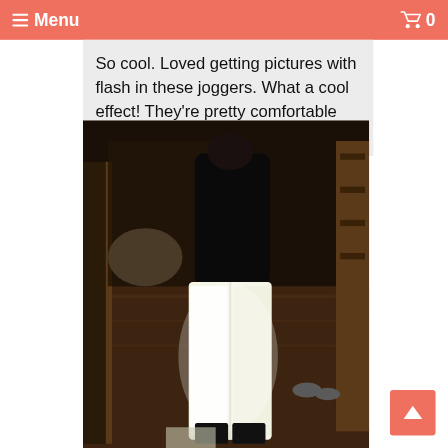Menu  0
So cool. Loved getting pictures with flash in these joggers. What a cool effect! They're pretty comfortable
[Figure (photo): Person wearing reflective white jogger pants photographed with flash in a dark room, showing the bright reflective effect of the pants against a dark background with wooden floors and furniture visible.]